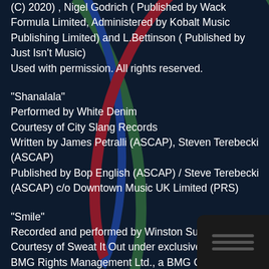(C) 2020) , Nigel Godrich ( Published by Wack Formula Limited, Administered by Kobalt Music Publishing Limited) and L.Bettinson ( Published by Just Isn't Music)
Used with permission. All rights reserved.
"Shanalala"
Performed by White Denim
Courtesy of City Slang Records
Written by James Petralli (ASCAP), Steven Terebecki (ASCAP)
Published by Bop English (ASCAP) / Steve Terebecki (ASCAP) c/o Downtown Music UK Limited (PRS)
"Smile"
Recorded and performed by Winston Surfshirt
Courtesy of Sweat It Out under exclusive license to BMG Rights Management Ltd., a BMG Company (P) 2019
Written by Lachlan Ian McAllister, Andrew Charles Cleland, Brett Ramson, Jack Overall Hambling,